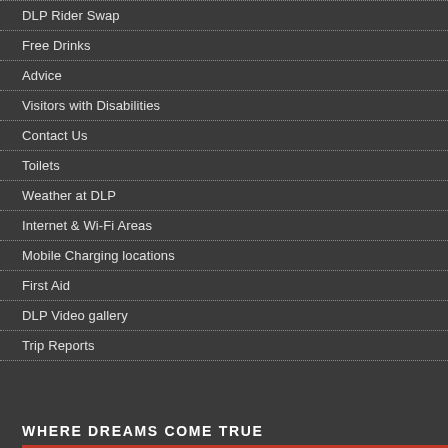DLP Rider Swap
Free Drinks
Advice
Visitors with Disabilities
Contact Us
Toilets
Weather at DLP
Internet & Wi-Fi Areas
Mobile Charging locations
First Aid
DLP Video gallery
Trip Reports
WHERE DREAMS COME TRUE